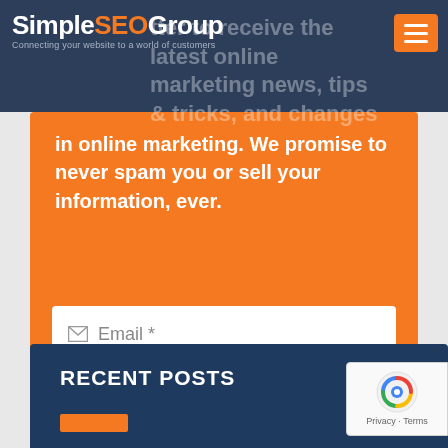[Figure (logo): SimpleSEOGroup logo with tagline 'Connecting your website to a world of customers']
tter to receive the latest online marketing news, tips & tricks, and changes in online marketing. We promise to never spam you or sell your information, ever.
[Figure (screenshot): Email input field with placeholder 'Email *']
[Figure (screenshot): First Name input field with placeholder 'First Name *']
[Figure (screenshot): SUBSCRIBE button]
RECENT POSTS